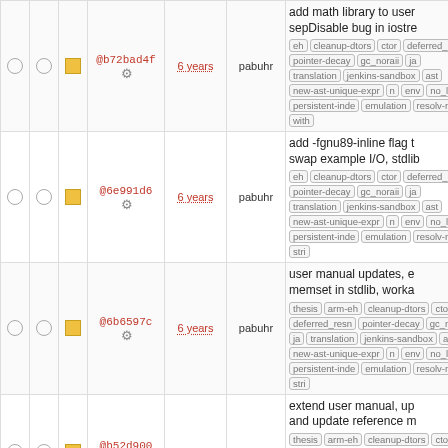|  |  |  | hash | age | author | description |
| --- | --- | --- | --- | --- | --- | --- |
| ○ ○ | ■ | @b72bad4f ⚙ | 6 years | pabuhr | add math library to user sepDisable bug in iostre... eh cleanup-dtors ctor deferred_resn pointer-decay gc_noraii ja translation jenkins-sandbox ast new-ast-unique-expr n env no_list persistent-inde emulation resolv-new with |
| ○ ○ | ■ | @6e991d6 ⚙ | 6 years | pabuhr | add -fgnu89-inline flag t swap example I/O, stdlib... eh cleanup-dtors ctor deferred_resn pointer-decay gc_noraii ja translation jenkins-sandbox ast new-ast-unique-expr n env no_list persistent-inde emulation resolv-new stri |
| ○ ○ | ■ | @6b6597c ⚙ | 6 years | pabuhr | user manual updates, e memset in stdlib, worka... thesis arm-eh cleanup-dtors ctor deferred_resn pointer-decay gc_noraii ja translation jenkins-sandbox ast new-ast-unique-expr n env no_list persistent-inde emulation resolv-new stri |
| ○ ○ | ■ | @b52d900 ⚙ | 6 years | pabuhr | extend user manual, up and update reference m... thesis arm-eh cleanup-dtors ctor deferred_resn pointer-decay gc_noraii ja translation jenkins-sandbox ast new-ast-unique-expr n env no_list persistent-inde |